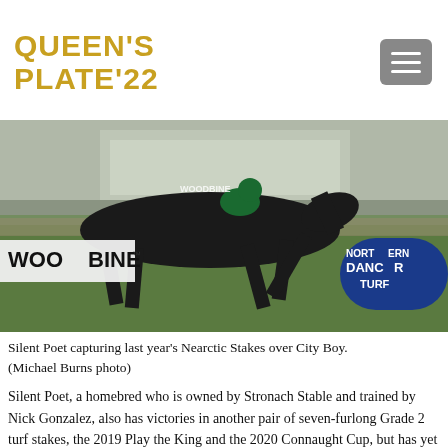QUEEN'S PLATE'22
[Figure (photo): Horse racing photo showing a dark horse mid-stride at Woodbine racetrack, with a jockey in green silks. Woodbine signage visible on the left, Northern Dancer Turf signage on the right.]
Silent Poet capturing last year's Nearctic Stakes over City Boy. (Michael Burns photo)
Silent Poet, a homebred who is owned by Stronach Stable and trained by Nick Gonzalez, also has victories in another pair of seven-furlong Grade 2 turf stakes, the 2019 Play the King and the 2020 Connaught Cup, but has yet to find his best form in two starts this season.
City Boy, conditioned by Mike Keogh for The Estate of Gustav